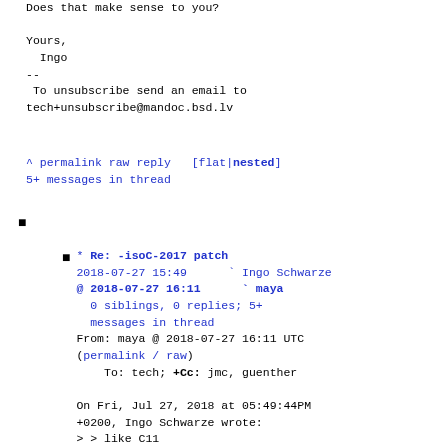Does that make sense to you?

Yours,
  Ingo
--
 To unsubscribe send an email to
tech+unsubscribe@mandoc.bsd.lv
^ permalink raw reply   [flat|nested]
5+ messages in thread
bullet
* Re: -isoC-2017 patch
2018-07-27 15:49      ` Ingo Schwarze
@ 2018-07-27 16:11      ` maya
  0 siblings, 0 replies; 5+ messages in thread
From: maya @ 2018-07-27 16:11 UTC (permalink / raw)
    To: tech; +Cc: jmc, guenther

On Fri, Jul 27, 2018 at 05:49:44PM +0200, Ingo Schwarze wrote:
> > like C11
>
> After looking at the draft, it seems to me that there will likely
> even be fewer references to C18